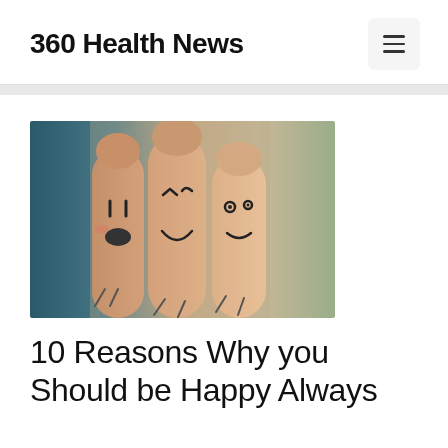360 Health News
[Figure (photo): Three fingers side by side with hand-drawn smiley faces on them, set against a teal/blurred background. The fingers have cute cartoon expressions drawn in black ink.]
10 Reasons Why you Should be Happy Always